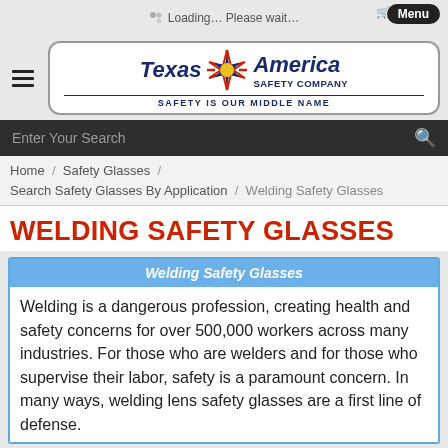Loading… Please wait…
[Figure (logo): Texas America Safety Company logo with star graphic. Tagline: SAFETY IS OUR MIDDLE NAME]
Enter Your Search
Home / Safety Glasses / Search Safety Glasses By Application / Welding Safety Glasses
WELDING SAFETY GLASSES
Welding Safety Glasses
Welding is a dangerous profession, creating health and safety concerns for over 500,000 workers across many industries. For those who are welders and for those who supervise their labor, safety is a paramount concern. In many ways, welding lens safety glasses are a first line of defense.